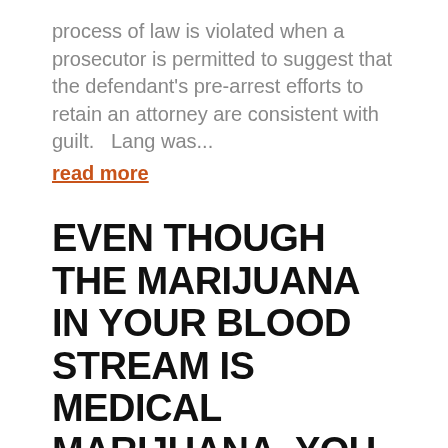process of law is violated when a prosecutor is permitted to suggest that the defendant's pre-arrest efforts to retain an attorney are consistent with guilt.   Lang was...
read more
EVEN THOUGH THE MARIJUANA IN YOUR BLOOD STREAM IS MEDICAL MARIJUANA, YOU ARE STILL DUI
On Behalf of The Law Office Of Michael T. Winters | May 5, 2022 | Firm News
Today, the PA Superior Court held that when